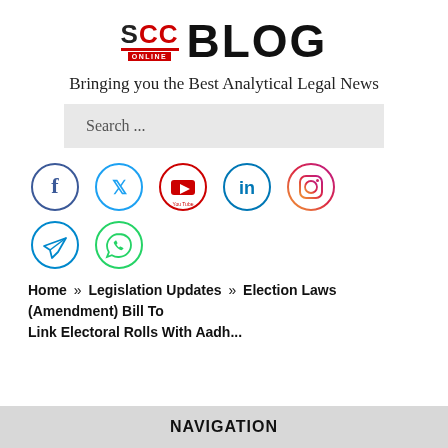[Figure (logo): SCC Online Blog logo — SCC Online text with red underline and ONLINE tag, followed by large BLOG text]
Bringing you the Best Analytical Legal News
[Figure (other): Search bar with placeholder text 'Search ...']
[Figure (other): Social media icons: Facebook, Twitter, YouTube, LinkedIn, Instagram, Telegram, WhatsApp]
Home » Legislation Updates » Election Laws (Amendment) Bill To Link Electoral Rolls With Aadh...
NAVIGATION